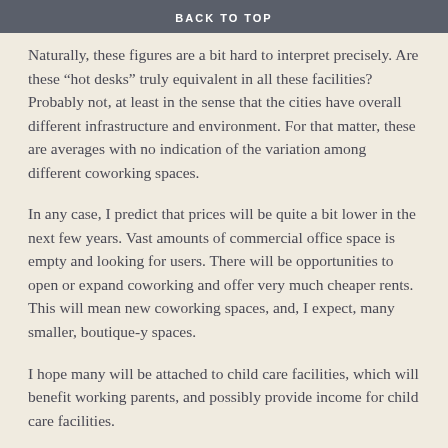BACK TO TOP
Naturally, these figures are a bit hard to interpret precisely.  Are these “hot desks” truly equivalent in all these facilities?  Probably not, at least in the sense that the cities have overall different infrastructure and environment.  For that matter, these are averages with no indication of the variation among different coworking spaces.
In any case, I predict that prices will be quite a bit lower in the next few years.  Vast amounts of commercial office space is empty and looking for users.  There will be opportunities to open or expand coworking and offer very much cheaper rents.  This will mean new coworking spaces, and, I expect, many smaller, boutique-y spaces.
I hope many will be attached to child care facilities, which will benefit working parents, and possibly provide income for child care facilities.